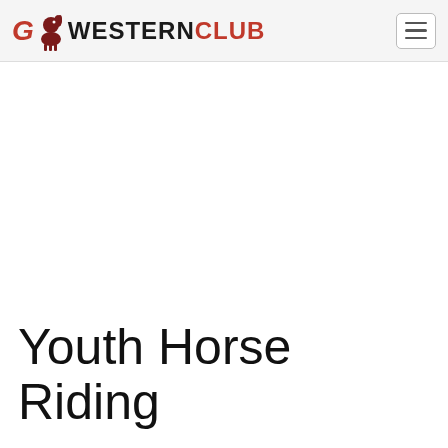GO WESTERN CLUB
Youth Horse Riding